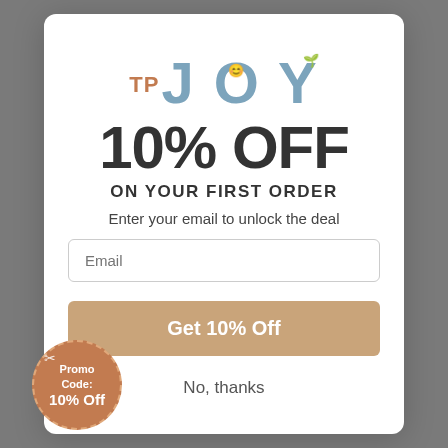[Figure (logo): TP JOY logo with smiley face and leaf accent, blue and brown colors]
10% OFF
ON YOUR FIRST ORDER
Enter your email to unlock the deal
Email (input field placeholder)
Get 10% Off
No, thanks
[Figure (illustration): Circular brown promo badge with dashed border, scissors icon, and text: Promo Code: 10% Off]